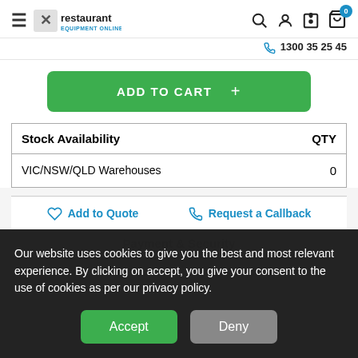Restaurant Equipment Online — 1300 35 25 45
ADD TO CART +
| Stock Availability | QTY |
| --- | --- |
| VIC/NSW/QLD Warehouses | 0 |
Add to Quote   Request a Callback
Our website uses cookies to give you the best and most relevant experience. By clicking on accept, you give your consent to the use of cookies as per our privacy policy.
Accept   Deny